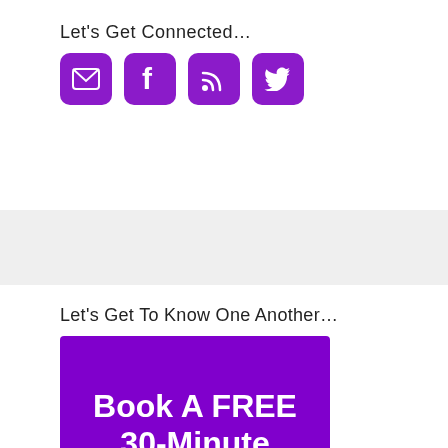Let's Get Connected…
[Figure (infographic): Four purple rounded square social media icon buttons: email (envelope), Facebook (f), RSS (signal/wifi), Twitter (bird)]
Let's Get To Know One Another…
[Figure (infographic): Purple banner with white bold text: Book A FREE 30-Minute Consultation! with a yellow audio cable jack decoration at the bottom]